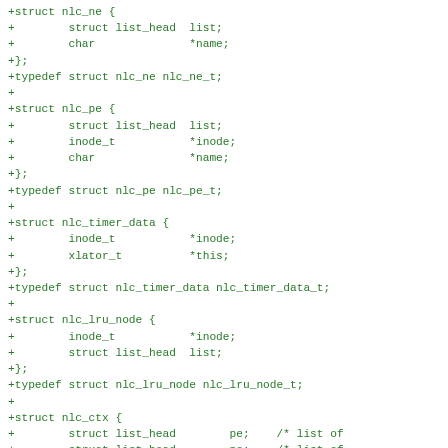+struct nlc_ne {
+        struct list_head  list;
+        char              *name;
+};
+typedef struct nlc_ne nlc_ne_t;
+
+struct nlc_pe {
+        struct list_head  list;
+        inode_t           *inode;
+        char              *name;
+};
+typedef struct nlc_pe nlc_pe_t;
+
+struct nlc_timer_data {
+        inode_t           *inode;
+        xlator_t          *this;
+};
+typedef struct nlc_timer_data nlc_timer_data_t;
+
+struct nlc_lru_node {
+        inode_t           *inode;
+        struct list_head  list;
+};
+typedef struct nlc_lru_node nlc_lru_node_t;
+
+struct nlc_ctx {
+        struct list_head        pe;    /* list of
+        struct list_head        ne;    /* list of
+        uint64_t                state;
+        time_t                  cache_time;
+        struct gf_tw_timer_list *timer;